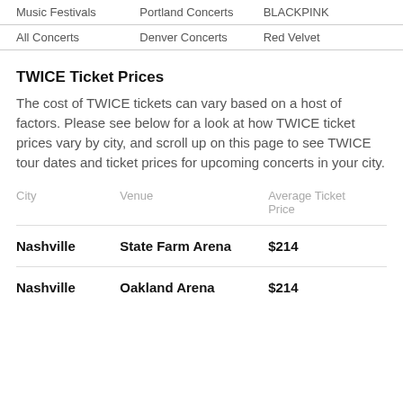Music Festivals | Portland Concerts | BLACKPINK
All Concerts | Denver Concerts | Red Velvet
TWICE Ticket Prices
The cost of TWICE tickets can vary based on a host of factors. Please see below for a look at how TWICE ticket prices vary by city, and scroll up on this page to see TWICE tour dates and ticket prices for upcoming concerts in your city.
| City | Venue | Average Ticket Price |
| --- | --- | --- |
| Nashville | State Farm Arena | $214 |
| Nashville | Oakland Arena | $214 |